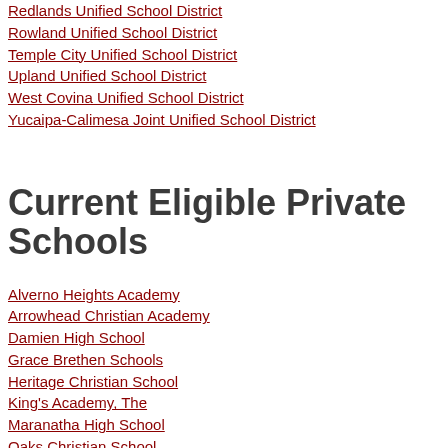Redlands Unified School District
Rowland Unified School District
Temple City Unified School District
Upland Unified School District
West Covina Unified School District
Yucaipa-Calimesa Joint Unified School District
Current Eligible Private Schools
Alverno Heights Academy
Arrowhead Christian Academy
Damien High School
Grace Brethen Schools
Heritage Christian School
King's Academy, The
Maranatha High School
Oaks Christian School
Ontario Christian High School
Pomona Catholic High School